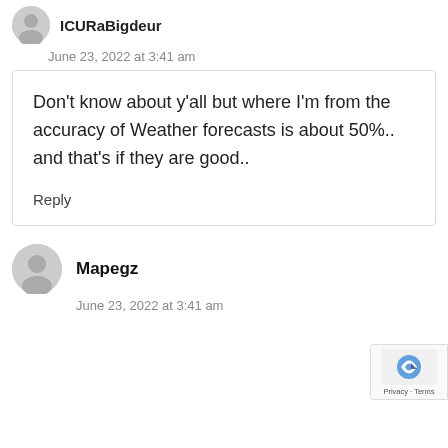ICURaBigdeur
June 23, 2022 at 3:41 am
Don't know about y'all but where I'm from the accuracy of Weather forecasts is about 50%.. and that's if they are good..
Reply
Mapegz
June 23, 2022 at 3:41 am